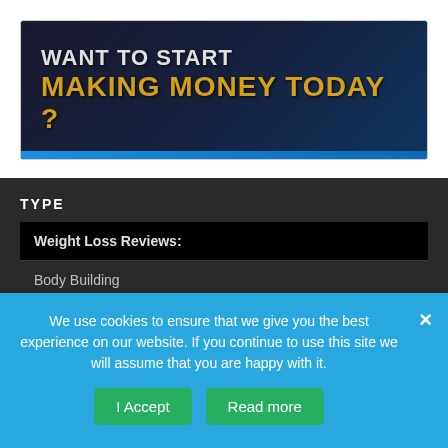[Figure (screenshot): Dark banner with text 'WANT TO START MAKING MONEY TODAY?' with blue accent bar at bottom]
TYPE
Weight Loss Reviews:
Body Building
Cleanse
Diet Programs
We use cookies to ensure that we give you the best experience on our website. If you continue to use this site we will assume that you are happy with it.